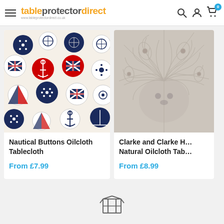tableprotectordirect
[Figure (photo): Nautical Buttons Oilcloth Tablecloth product image – white fabric with circular nautical-themed buttons featuring Union Jack flags, anchors, ship wheels, and sailboats in navy, red, and white]
Nautical Buttons Oilcloth Tablecloth
From £7.99
[Figure (photo): Clarke and Clarke Hedgehog Natural Oilcloth Tablecloth product image – light grey/beige fabric with detailed hedgehog and feather pattern]
Clarke and Clarke H... Natural Oilcloth Tab...
From £8.99
[Figure (illustration): Package/box icon in outline style at the bottom center of the page]